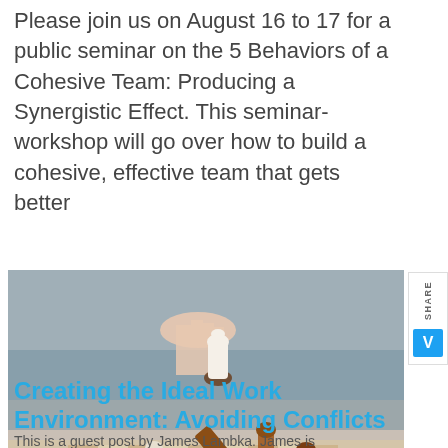Please join us on August 16 to 17 for a public seminar on the 5 Behaviors of a Cohesive Team: Producing a Synergistic Effect. This seminar-workshop will go over how to build a cohesive, effective team that gets better
[Figure (photo): A hand holding a white chess piece (knight) above a chess board, with brown and white chess pieces visible, suggesting strategic conflict or competition.]
Creating the Ideal Work Environment: Avoiding Conflicts
This is a guest post by James Lambka. James is